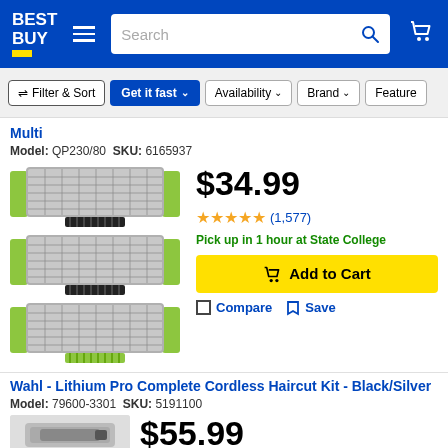Best Buy - Header with logo, search bar, hamburger menu, cart
Filter & Sort  Get it fast  Availability  Brand  Feature
Multi
Model: QP230/80  SKU: 6165937
[Figure (photo): Three Philips OneBlade replacement blade heads with green trim and metal mesh, stacked vertically]
$34.99
★★★★★ (1,577)
Pick up in 1 hour at State College
Add to Cart
Compare  Save
Wahl - Lithium Pro Complete Cordless Haircut Kit - Black/Silver
Model: 79600-3301  SKU: 5191100
$55.99